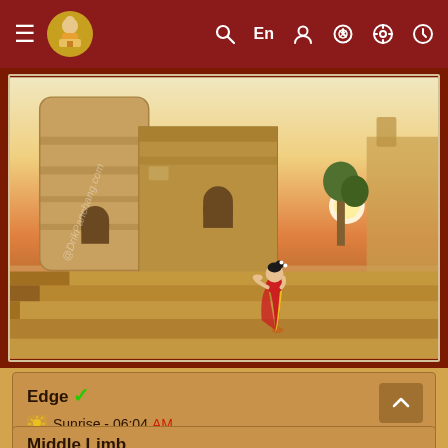≡ [Logo] Search En Account Settings Clock
[Figure (illustration): Illustration of a Hindu ghat (riverbank with stone steps and ancient temple architecture) at sunset. A woman in a red saree stands on the steps, praying toward the river. The background shows a golden-orange sky with the sun setting over calm water. Watermark text reads 'DrikPanchang.com'.]
Edge ✓
Sunrise - 06:04 AM
Sunset - 05:16 PM
* currently used and suggested by Drik Panchang
Middle Limb